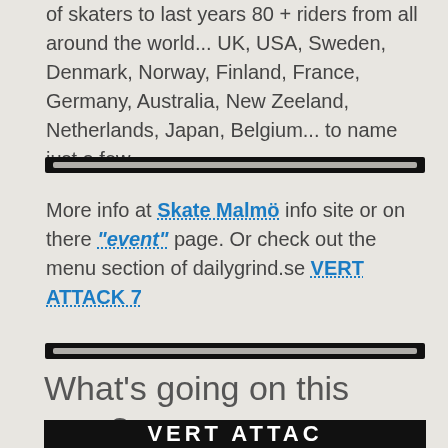of skaters to last years 80 + riders from all around the world... UK, USA, Sweden, Denmark, Norway, Finland, France, Germany, Australia, New Zeeland, Netherlands, Japan, Belgium... to name just a few.
[Figure (other): Decorative horizontal divider bar with black edges and grey center line]
More info at Skate Malmö info site or on there "event" page. Or check out the menu section of dailygrind.se VERT ATTACK 7
[Figure (other): Decorative horizontal divider bar with black edges and grey center line]
What's going on this year?
[Figure (other): Black banner image with large white bold text, partially visible, appears to say VERT ATTACK]